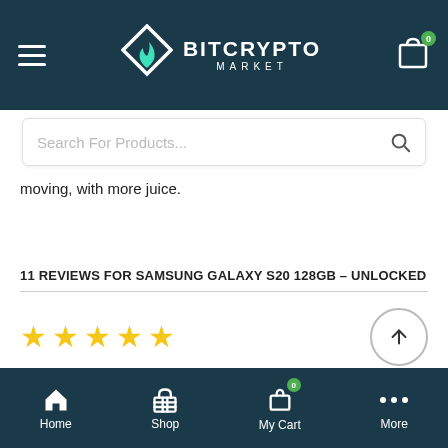BITCRYPTO MARKET
Search For Products...
moving, with more juice.
11 REVIEWS FOR SAMSUNG GALAXY S20 128GB – UNLOCKED
★★★★★ (4 stars rating)
KEU
Home  Shop  My Cart  More